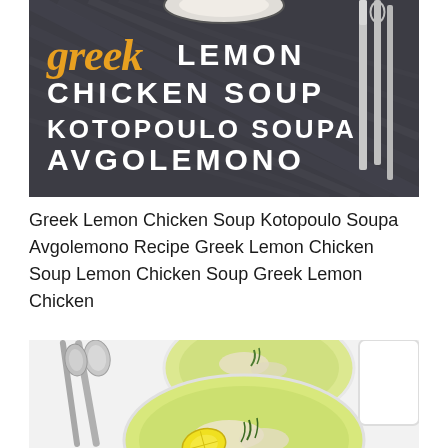[Figure (photo): Food photography: Greek Lemon Chicken Soup (Kotopoulo Soupa Avgolemono) recipe card image. Dark denim/fabric background with a bowl of soup at top, silverware (knife and spoon) on the right. Gold cursive 'greek' text with bold white uppercase text overlay: 'LEMON CHICKEN SOUP KOTOPOULO SOUPA AVGOLEMONO'.]
Greek Lemon Chicken Soup Kotopoulo Soupa Avgolemono Recipe Greek Lemon Chicken Soup Lemon Chicken Soup Greek Lemon Chicken
[Figure (photo): Food photography: Two white bowls of Greek lemon chicken soup (avgolemono) from above/angle. Soup has a light green-yellow broth with shredded chicken, dill garnish, lemon slices. Two silver spoons on the left side. A white mug partially visible on the right. Light gray/white background.]